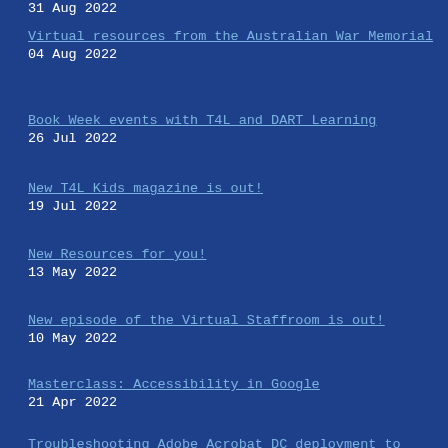31 Aug 2022
Virtual resources from the Australian War Memorial
04 Aug 2022
Book Week events with T4L and DART Learning
26 Jul 2022
New T4L Kids magazine is out!
19 Jul 2022
New Resources for you!
13 May 2022
New episode of the Virtual Staffroom is out!
10 May 2022
Masterclass: Accessibility in Google
21 Apr 2022
Troubleshooting Adobe Acrobat DC deployment to Windows devices